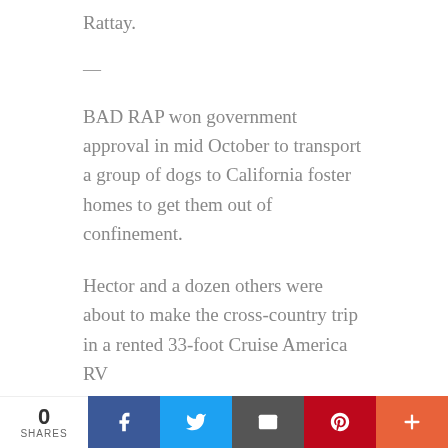Rattay.
—
BAD RAP won government approval in mid October to transport a group of dogs to California foster homes to get them out of confinement.
Hector and a dozen others were about to make the cross-country trip in a rented 33-foot Cruise America RV
0 SHARES | Facebook | Twitter | Email | Pinterest | More